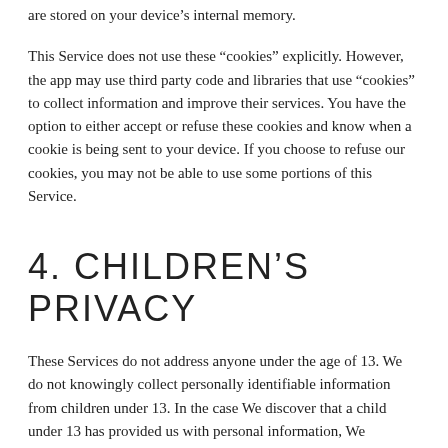are stored on your device's internal memory.
This Service does not use these “cookies” explicitly. However, the app may use third party code and libraries that use “cookies” to collect information and improve their services. You have the option to either accept or refuse these cookies and know when a cookie is being sent to your device. If you choose to refuse our cookies, you may not be able to use some portions of this Service.
4. CHILDREN'S PRIVACY
These Services do not address anyone under the age of 13. We do not knowingly collect personally identifiable information from children under 13. In the case We discover that a child under 13 has provided us with personal information, We immediately delete this from our servers. If